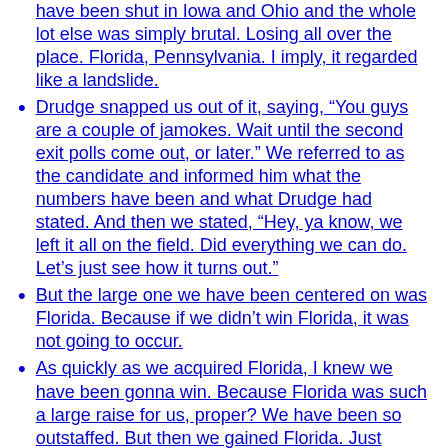have been shut in Iowa and Ohio and the whole lot else was simply brutal. Losing all over the place. Florida, Pennsylvania. I imply, it regarded like a landslide.
Drudge snapped us out of it, saying, “You guys are a couple of jamokes. Wait until the second exit polls come out, or later.” We referred to as the candidate and informed him what the numbers have been and what Drudge had stated. And then we stated, “Hey, ya know, we left it all on the field. Did everything we can do. Let’s just see how it turns out.”
But the large one we have been centered on was Florida. Because if we didn’t win Florida, it was not going to occur.
As quickly as we acquired Florida, I knew we have been gonna win. Because Florida was such a large raise for us, proper? We have been so outstaffed. But then we gained Florida. Just made me know that the remainder of the evening was going to go properly.
Bannon stated he knew that Trump would win after locking up Florida, which isn’t the identical as understanding Trump would win all alongside. In truth, “We left it all on the field” is the condolence of somebody who expects to lose.
Whether or not Trump hired self...